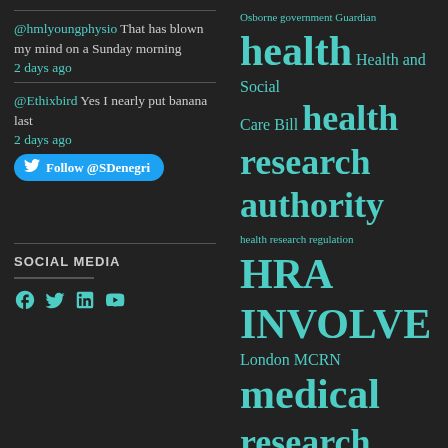@hmlyoungphysio That has blown my mind on a Sunday morning
2 days ago
@Ethixbird Yes I nearly put banana last
2 days ago
[Figure (infographic): Twitter Follow @SDenegri button]
SOCIAL MEDIA
[Figure (infographic): Social media icons: Facebook, Twitter, LinkedIn, YouTube in teal color]
[Figure (infographic): Tag cloud with health research related terms in various sizes. Terms include: Osborne government Guardian, health, Health and Social, Care Bill, health research authority, health research regulation, HRA, INVOLVE, London, MCRN, medical research, medical research charities, Medical Research Council, Medicines for children, research network, MRC, National Health Service, National]